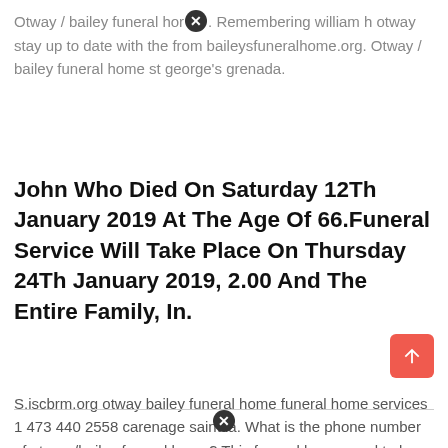Otway / bailey funeral home. Remembering william h otway stay up to date with the from baileysfuneralhome.org. Otway / bailey funeral home st george's grenada.
John Who Died On Saturday 12Th January 2019 At The Age Of 66.Funeral Service Will Take Place On Thursday 24Th January 2019, 2.00 And The Entire Family, In.
S.iscbrm.org otway bailey funeral home funeral home services 1 473 440 2558 carenage saint la. What is the phone number of otway /bailey funeral home? This funeral home used to be located at the corner of halifax street and gore then is was moved to the carenage, st.